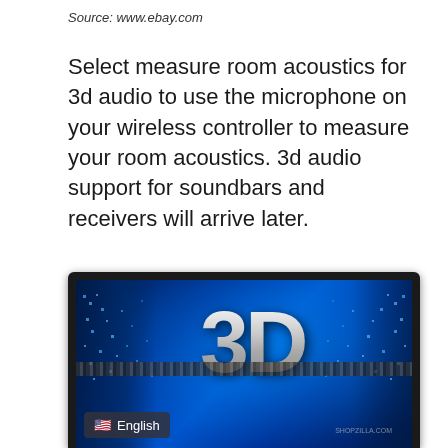Source: www.ebay.com
Select measure room acoustics for 3d audio to use the microphone on your wireless controller to measure your room acoustics. 3d audio support for soundbars and receivers will arrive later.
[Figure (photo): A flatscreen TV with a dark frame displaying a 3D promotional graphic — large silver metallic '3D' text centered on a vivid blue background with sparkle/pixel effects on the sides and a horizontal bar of small lit squares across the middle. A small English language badge with a US flag is in the lower-left corner of the screen.]